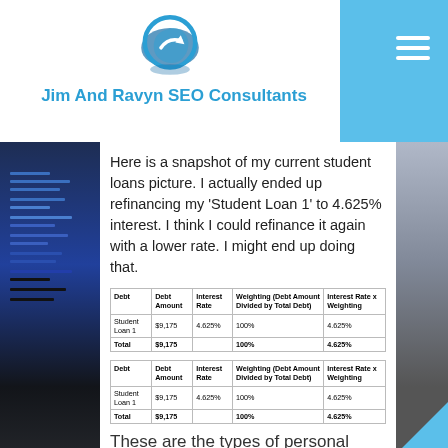Jim And Ravyn SEO Consultants
Here is a snapshot of my current student loans picture. I actually ended up refinancing my 'Student Loan 1' to 4.625% interest. I think I could refinance it again with a lower rate. I might end up doing that.
| Debt | Debt Amount | Interest Rate | Weighting (Debt Amount Divided by Total Debt) | Interest Rate x Weighting |
| --- | --- | --- | --- | --- |
| Student Loan 1 | $9,175 | 4.625% | 100% | 4.625% |
| Total | $9,175 |  | 100% | 4.625% |
| Debt | Debt Amount | Interest Rate | Weighting (Debt Amount Divided by Total Debt) | Interest Rate x Weighting |
| --- | --- | --- | --- | --- |
| Student Loan 1 | $9,175 | 4.625% | 100% | 4.625% |
| Total | $9,175 |  | 100% | 4.625% |
These are the types of personal financial